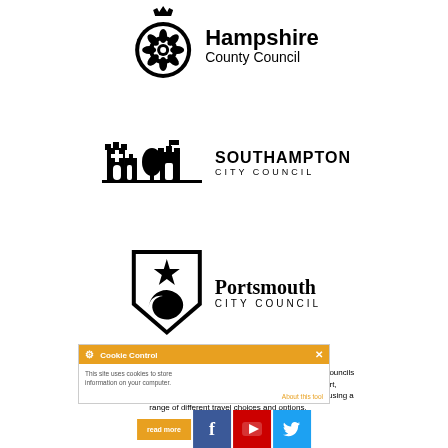[Figure (logo): Hampshire County Council logo with rose emblem and text]
[Figure (logo): Southampton City Council logo with castle/cityscape silhouette]
[Figure (logo): Portsmouth City Council logo with shield bearing star and crescent]
My Journey is a travel awareness campaign delivered by local Councils and partners, with funding from the Department for Transport, that seeks to help Hampshire residents get around more easily, using a range of different travel choices and options.
[Figure (screenshot): Cookie Control overlay popup with orange header, gear icon, close button, and 'About this tool' link]
[Figure (other): Social media buttons: read more, Facebook, YouTube, Twitter]